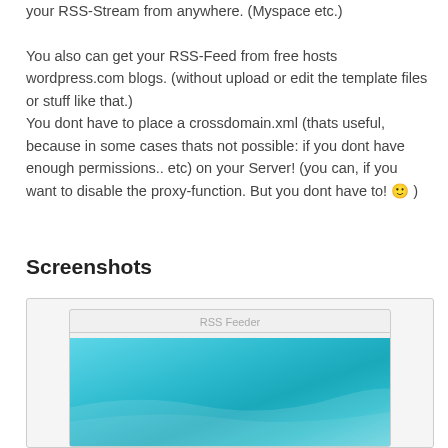your RSS-Stream from anywhere. (Myspace etc.)

You also can get your RSS-Feed from free hosts wordpress.com blogs. (without upload or edit the template files or stuff like that.)
You dont have to place a crossdomain.xml (thats useful, because in some cases thats not possible: if you dont have enough permissions.. etc) on your Server! (you can, if you want to disable the proxy-function. But you dont have to! 🙂 )
Screenshots
[Figure (screenshot): Screenshot of an RSS Feeder widget with a light blue/teal gradient background and the title 'RSS Feeder' at the top in gray text.]